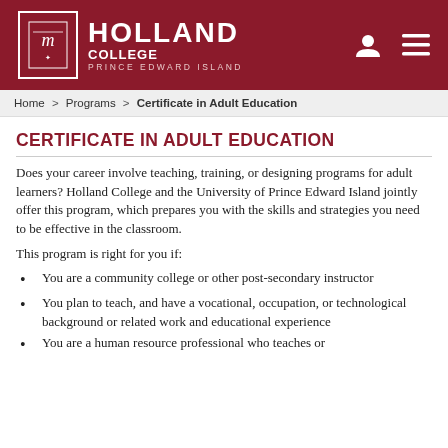Holland College — Prince Edward Island
Home > Programs > Certificate in Adult Education
CERTIFICATE IN ADULT EDUCATION
Does your career involve teaching, training, or designing programs for adult learners? Holland College and the University of Prince Edward Island jointly offer this program, which prepares you with the skills and strategies you need to be effective in the classroom.
This program is right for you if:
You are a community college or other post-secondary instructor
You plan to teach, and have a vocational, occupation, or technological background or related work and educational experience
You are a human resource professional who teaches or